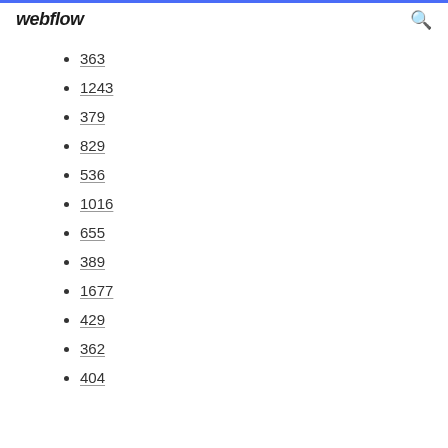webflow
363
1243
379
829
536
1016
655
389
1677
429
362
404